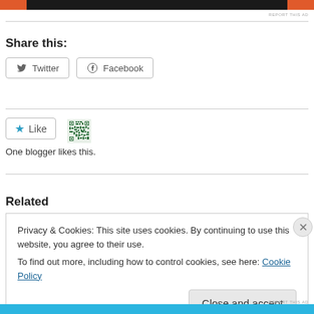[Figure (other): Advertisement banner with orange and black sections at top of page]
REPORT THIS AD
Share this:
Twitter  Facebook
[Figure (other): Like button with star icon and QR code avatar, with text 'One blogger likes this.']
One blogger likes this.
Related
Privacy & Cookies: This site uses cookies. By continuing to use this website, you agree to their use.
To find out more, including how to control cookies, see here: Cookie Policy
Close and accept